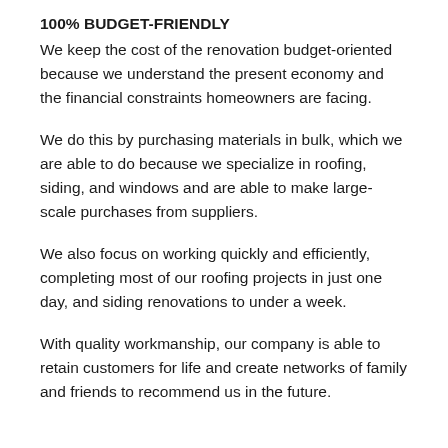100% BUDGET-FRIENDLY
We keep the cost of the renovation budget-oriented because we understand the present economy and the financial constraints homeowners are facing.
We do this by purchasing materials in bulk, which we are able to do because we specialize in roofing, siding, and windows and are able to make large-scale purchases from suppliers.
We also focus on working quickly and efficiently, completing most of our roofing projects in just one day, and siding renovations to under a week.
With quality workmanship, our company is able to retain customers for life and create networks of family and friends to recommend us in the future.